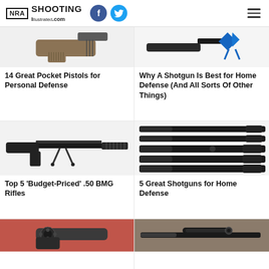NRA Shooting Illustrated .com
[Figure (photo): Partial view of a pistol with tan/FDE grip panels, top-left card]
14 Great Pocket Pistols for Personal Defense
[Figure (photo): Partial view of a rifle or shotgun with a blue ribbon, top-right card]
Why A Shotgun Is Best for Home Defense (And All Sorts Of Other Things)
[Figure (photo): A large .50 BMG bolt-action rifle on a bipod with folding stock]
Top 5 'Budget-Priced' .50 BMG Rifles
[Figure (photo): Five pump-action shotguns stacked/laid out in a row]
5 Great Shotguns for Home Defense
[Figure (photo): Bottom-left partial card showing a revolver on a red surface]
[Figure (photo): Bottom-right partial card showing a scoped rifle on wood surface]